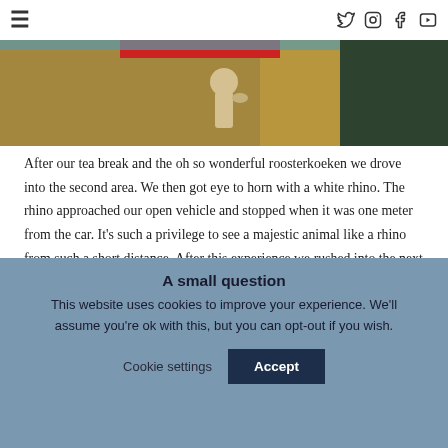☰ [social icons: twitter, instagram, facebook, youtube]
[Figure (photo): Partial wildlife/nature hero image showing a person holding something, with golden and dark blue/green areas visible]
After our tea break and the oh so wonderful roosterkoeken we drove into the second area. We then got eye to horn with a white rhino. The rhino approached our open vehicle and stopped when it was one meter from the car. It's such a privilege to see a majestic animal like a rhino from such a short distance. After this experience we rushed into the next one. The lions had just caught the last black wildebeest on the reserve. When we arrived this big old male lion (17 years old!)
A small question
This website uses cookies to improve your experience. We'll assume you're ok with this, but you can opt-out if you wish.
Cookie settings    Accept